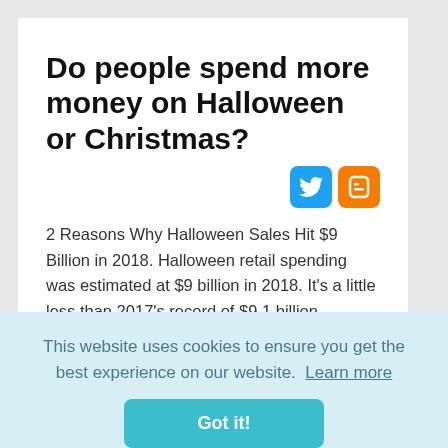Do people spend more money on Halloween or Christmas?
2 Reasons Why Halloween Sales Hit $9 Billion in 2018. Halloween retail spending was estimated at $9 billion in 2018. It's a little less than 2017's record of $9.1 billion. Slightly fewer, 175 million, said they would
This website uses cookies to ensure you get the best experience on our website. Learn more
Got it!
How much does the average